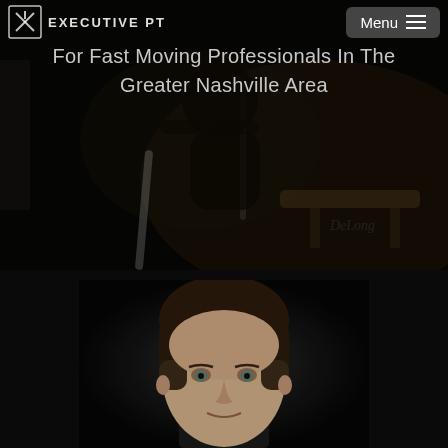[Figure (photo): Dark gym interior background with person lifting weights, partially visible equipment and barbell]
EXECUTIVE PT
For Fast Moving Professionals In The Greater Nashville Area
[Figure (photo): Close-up professional headshot portrait of a man with short dark hair against a dark background]